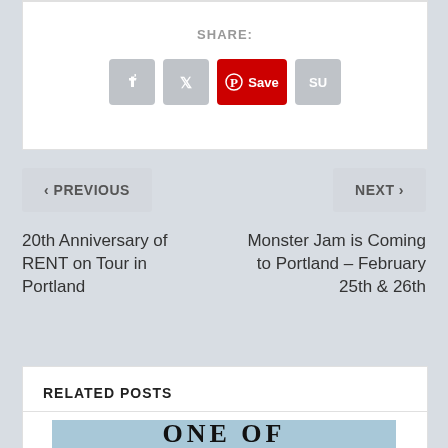SHARE:
[Figure (infographic): Social sharing buttons: Facebook, Twitter, Pinterest Save, StumbleUpon]
< PREVIOUS
NEXT >
20th Anniversary of RENT on Tour in Portland
Monster Jam is Coming to Portland – February 25th & 26th
RELATED POSTS
[Figure (photo): Partial image showing text 'ONE OF' in large serif font on a light blue background]